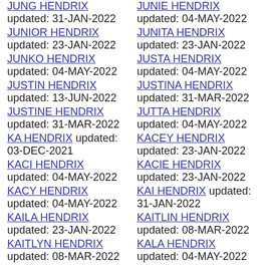JUNG HENDRIX updated: 31-JAN-2022
JUNIE HENDRIX updated: 04-MAY-2022
JUNIOR HENDRIX updated: 23-JAN-2022
JUNITA HENDRIX updated: 23-JAN-2022
JUNKO HENDRIX updated: 04-MAY-2022
JUSTA HENDRIX updated: 04-MAY-2022
JUSTIN HENDRIX updated: 13-JUN-2022
JUSTINA HENDRIX updated: 31-MAR-2022
JUSTINE HENDRIX updated: 31-MAR-2022
JUTTA HENDRIX updated: 04-MAY-2022
KA HENDRIX updated: 03-DEC-2021
KACEY HENDRIX updated: 23-JAN-2022
KACI HENDRIX updated: 04-MAY-2022
KACIE HENDRIX updated: 23-JAN-2022
KACY HENDRIX updated: 04-MAY-2022
KAI HENDRIX updated: 31-JAN-2022
KAILA HENDRIX updated: 23-JAN-2022
KAITLIN HENDRIX updated: 08-MAR-2022
KAITLYN HENDRIX updated: 08-MAR-2022
KALA HENDRIX updated: 04-MAY-2022